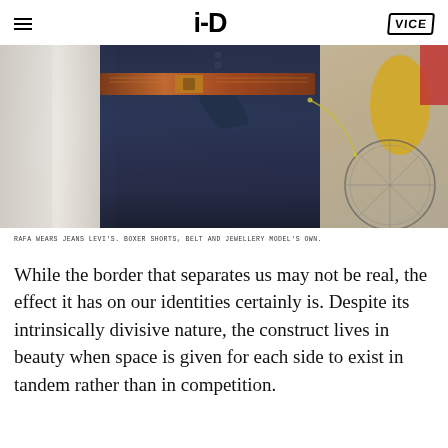i-D | VICE
[Figure (photo): Close-up photo of a person wearing dark indigo jeans with a brown leather belt, a white shirt, and jewellery, with a decorated bicycle visible in the background]
RAFA WEARS JEANS LEVI'S. BOXER SHORTS, BELT AND JEWELLERY MODEL'S OWN.
While the border that separates us may not be real, the effect it has on our identities certainly is. Despite its intrinsically divisive nature, the construct lives in beauty when space is given for each side to exist in tandem rather than in competition.